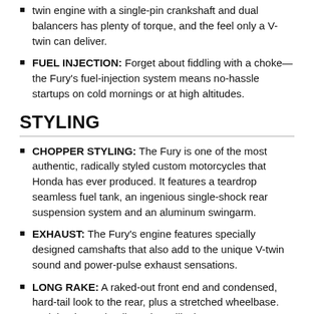twin engine with a single-pin crankshaft and dual balancers has plenty of torque, and the feel only a V-twin can deliver.
FUEL INJECTION: Forget about fiddling with a choke—the Fury's fuel-injection system means no-hassle startups on cold mornings or at high altitudes.
STYLING
CHOPPER STYLING: The Fury is one of the most authentic, radically styled custom motorcycles that Honda has ever produced. It features a teardrop seamless fuel tank, an ingenious single-shock rear suspension system and an aluminum swingarm.
EXHAUST: The Fury's engine features specially designed camshafts that also add to the unique V-twin sound and power-pulse exhaust sensations.
LONG RAKE: A raked-out front end and condensed, hard-tail look to the rear, plus a stretched wheelbase. And that long wheelbase is no illusion—